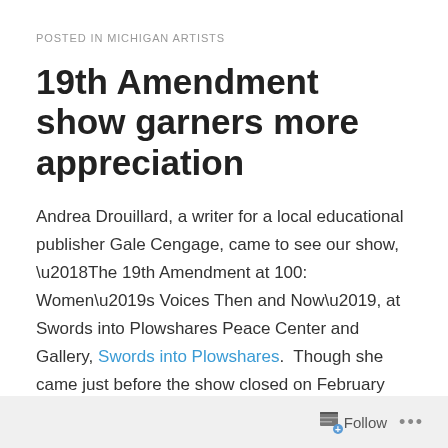POSTED IN MICHIGAN ARTISTS
19th Amendment show garners more appreciation
Andrea Drouillard, a writer for a local educational publisher Gale Cengage, came to see our show, ‘The 19th Amendment at 100: Women’s Voices Then and Now’, at Swords into Plowshares Peace Center and Gallery, Swords into Plowshares.  Though she came just before the show closed on February 29, she appreciated it so much she wanted to write about it in her blog for Gale, Gale Cengage. What women did to gain the vote demonstrates what unrepresented people can do to